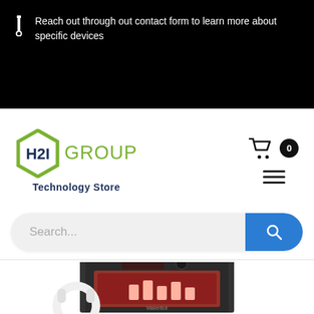Reach out through out contact form to learn more about specific devices
[Figure (logo): H2I Group Technology Store logo with hexagonal badge and group name]
[Figure (screenshot): Search bar with blue search button and navigation icons (cart with 0 badge, hamburger menu)]
[Figure (photo): MakerBot 3D printer with white headphones in front, red interior glow visible]